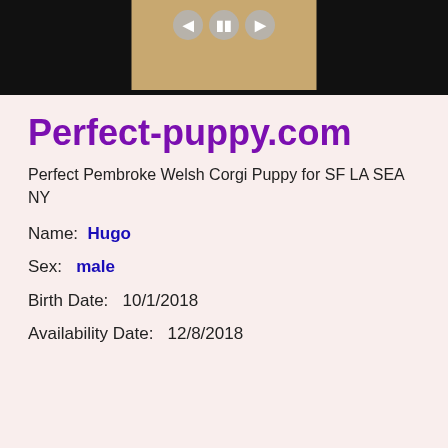[Figure (screenshot): Top portion of a webpage screenshot showing a dark/black image area with a golden/orange puppy photo in the center strip, with back, pause, and forward media control buttons overlaid at the top of the center image.]
Perfect-puppy.com
Perfect Pembroke Welsh Corgi Puppy for SF LA SEA NY
Name:  Hugo
Sex:  male
Birth Date:  10/1/2018
Availability Date:  12/8/2018